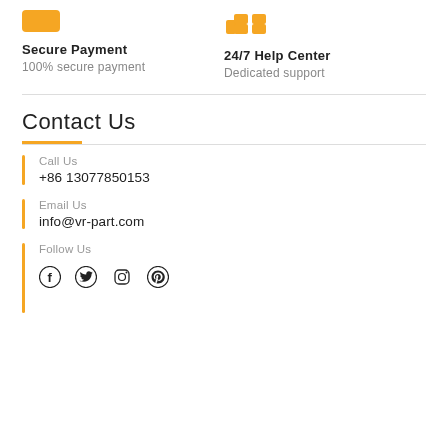[Figure (illustration): Orange shield icon for Secure Payment]
Secure Payment
100% secure payment
[Figure (illustration): Orange thumbs up icons for 24/7 Help Center]
24/7 Help Center
Dedicated support
Contact Us
Call Us
+86 13077850153
Email Us
info@vr-part.com
Follow Us
[Figure (illustration): Social media icons: Facebook, Twitter, Instagram, Pinterest]